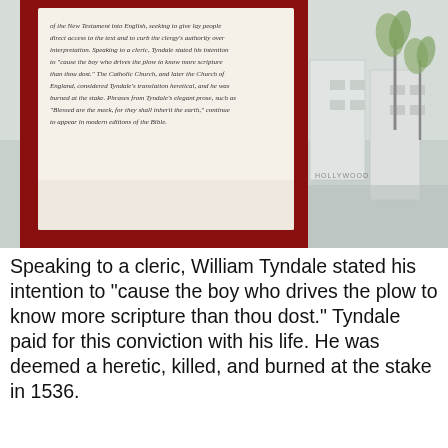[Figure (photo): Photo of a museum display showing a printed text panel about William Tyndale with a framed exhibit, overlaid on a background showing palm trees and buildings (Hollywood area)]
Speaking to a cleric, William Tyndale stated his intention to "cause the boy who drives the plow to know more scripture than thou dost." Tyndale paid for this conviction with his life. He was deemed a heretic, killed, and burned at the stake in 1536.
[Figure (photo): Photo of an open antique Bible or manuscript displayed in a glass case on a wooden stand, with dense columns of old printed text visible on both pages, background showing a city view with palm trees]